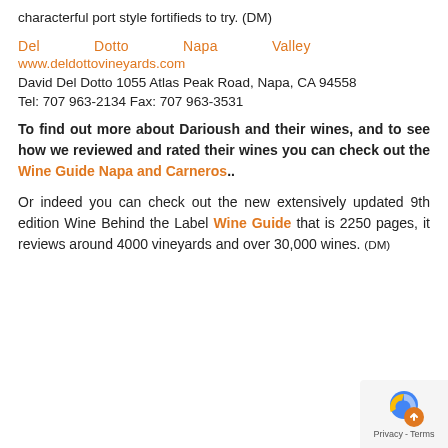characterful port style fortifieds to try. (DM)
Del Dotto Napa Valley
www.deldottovineyards.com
David Del Dotto 1055 Atlas Peak Road, Napa, CA 94558
Tel: 707 963-2134 Fax: 707 963-3531
To find out more about Darioush and their wines, and to see how we reviewed and rated their wines you can check out the Wine Guide Napa and Carneros..
Or indeed you can check out the new extensively updated 9th edition Wine Behind the Label Wine Guide that is 2250 pages, it reviews around 4000 vineyards and over 30,000 wines. (DM)